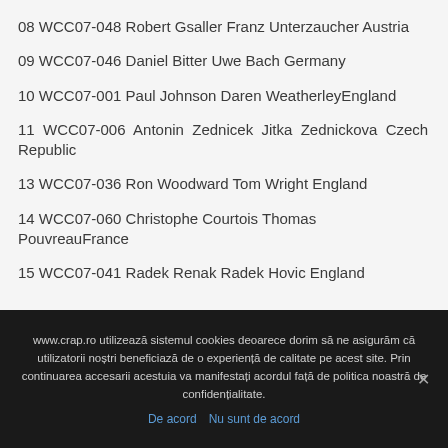08 WCC07-048 Robert Gsaller Franz Unterzaucher Austria
09 WCC07-046 Daniel Bitter Uwe Bach Germany
10 WCC07-001 Paul Johnson Daren WeatherleyEngland
11 WCC07-006 Antonin Zednicek Jitka Zednickova Czech Republic
13 WCC07-036 Ron Woodward Tom Wright England
14 WCC07-060 Christophe Courtois Thomas PouvreauFrance
15 WCC07-041 Radek Renak Radek Hovic England
www.crap.ro utilizează sistemul cookies deoarece dorim să ne asigurăm că utilizatorii noștri beneficiază de o experiență de calitate pe acest site. Prin continuarea accesarii acestuia va manifestați acordul față de politica noastră de confidențialitate.
De acord  Nu sunt de acord